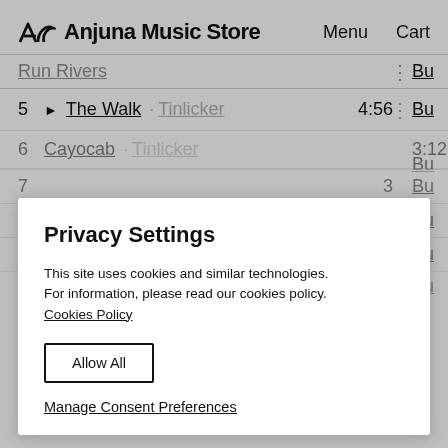Anjuna Music Store
Menu   Cart
Run Rivers · Buy
5 ▶ The Walk · Tinlicker   4:56   Buy
6  Cayocab · Tinlicker   3:12   Buy
7  Buy
8  7  Buy
9  Buy
Privacy Settings
This site uses cookies and similar technologies. For information, please read our cookies policy. Cookies Policy
Allow All
Manage Consent Preferences